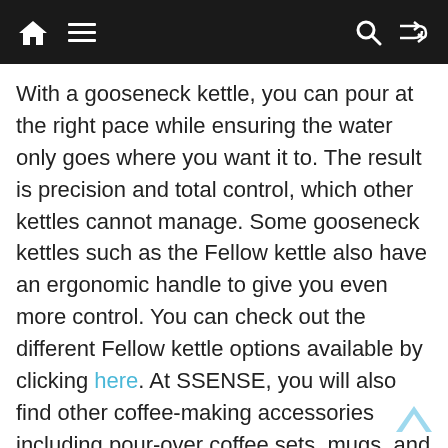Navigation bar with home, menu, search, and shuffle icons
With a gooseneck kettle, you can pour at the right pace while ensuring the water only goes where you want it to. The result is precision and total control, which other kettles cannot manage. Some gooseneck kettles such as the Fellow kettle also have an ergonomic handle to give you even more control. You can check out the different Fellow kettle options available by clicking here. At SSENSE, you will also find other coffee-making accessories including pour-over coffee sets, mugs, and grinders all from Fellow, a company specializing in coffee-making equipment. In addition to Fellow's accessories and equipment SSENSE also stocks high-end home accessories from numerous high-end brands.